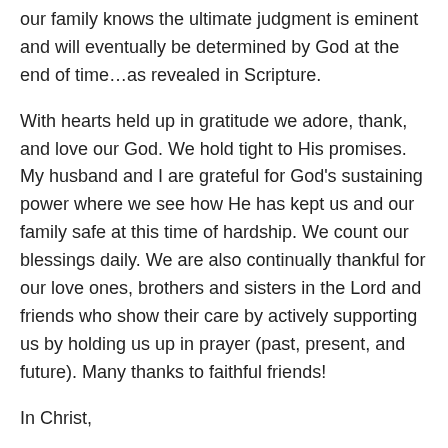our family knows the ultimate judgment is eminent and will eventually be determined by God at the end of time…as revealed in Scripture.
With hearts held up in gratitude we adore, thank, and love our God. We hold tight to His promises. My husband and I are grateful for God's sustaining power where we see how He has kept us and our family safe at this time of hardship. We count our blessings daily. We are also continually thankful for our love ones, brothers and sisters in the Lord and friends who show their care by actively supporting us by holding us up in prayer (past, present, and future). Many thanks to faithful friends!
In Christ,
Kim Armstrong